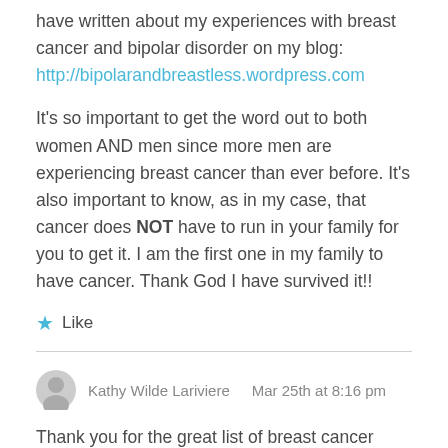have written about my experiences with breast cancer and bipolar disorder on my blog:
http://bipolarandbreastless.wordpress.com
It's so important to get the word out to both women AND men since more men are experiencing breast cancer than ever before. It's also important to know, as in my case, that cancer does NOT have to run in your family for you to get it. I am the first one in my family to have cancer. Thank God I have survived it!!
Like
Kathy Wilde Lariviere  Mar 25th at 8:16 pm
Thank you for the great list of breast cancer blogs. I, too, blogged my way to survival on